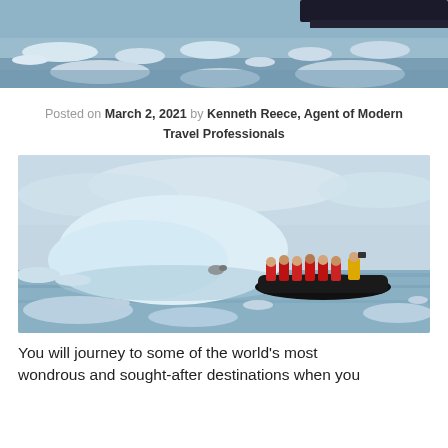[Figure (photo): Aerial/header photo of Arctic/Antarctic sea with icebergs and a dark ship hull visible at top right, icy water and floating ice chunks]
Posted on March 2, 2021 by Kenneth Reece, Agent of Modern Travel Professionals
[Figure (photo): Zodiac inflatable boat with tourists in red jackets and one guide in yellow jacket, observing a seal resting on a floating iceberg in Antarctic waters, large white iceberg in background]
You will journey to some of the world’s most wondrous and sought-after destinations when you